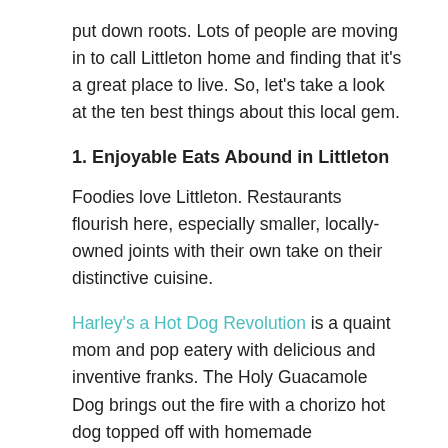put down roots. Lots of people are moving in to call Littleton home and finding that it's a great place to live. So, let's take a look at the ten best things about this local gem.
1. Enjoyable Eats Abound in Littleton
Foodies love Littleton. Restaurants flourish here, especially smaller, locally-owned joints with their own take on their distinctive cuisine.
Harley's a Hot Dog Revolution is a quaint mom and pop eatery with delicious and inventive franks. The Holy Guacamole Dog brings out the fire with a chorizo hot dog topped off with homemade guacamole, lettuce and bits of tortilla chips.